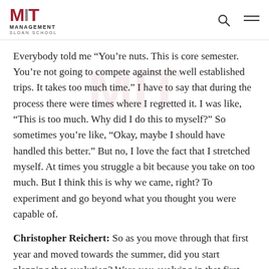MIT Management Sloan School
Everybody told me “You’re nuts. This is core semester. You’re not going to compete against the well established trips. It takes too much time.” I have to say that during the process there were times where I regretted it. I was like, “This is too much. Why did I do this to myself?” So sometimes you’re like, “Okay, maybe I should have handled this better.” But no, I love the fact that I stretched myself. At times you struggle a bit because you take on too much. But I think this is why we came, right? To experiment and go beyond what you thought you were capable of.
Christopher Reichert: So as you move through that first year and moved towards the summer, did you start planning that evolution? Were you evolving in that first semester to what